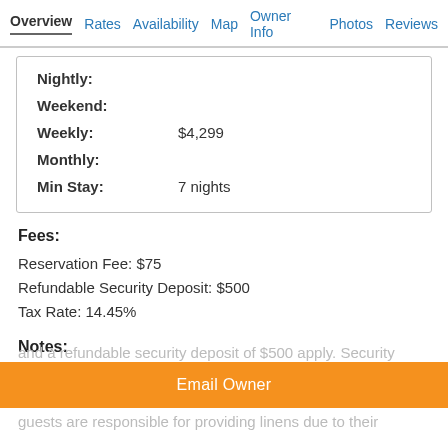Overview  Rates  Availability  Map  Owner Info  Photos  Reviews
| Nightly: |  |
| Weekend: |  |
| Weekly: | $4,299 |
| Monthly: |  |
| Min Stay: | 7 nights |
Fees:
Reservation Fee: $75
Refundable Security Deposit: $500
Tax Rate: 14.45%
Notes:
Policy: No partial weeks during summer. No pets allowed. This property has a Saturday turnover. Guest limit (10) is the total of adults and children. A reservation fee of $75 and a refundable security deposit of $500 apply. Security guests are responsible for providing linens due to their...